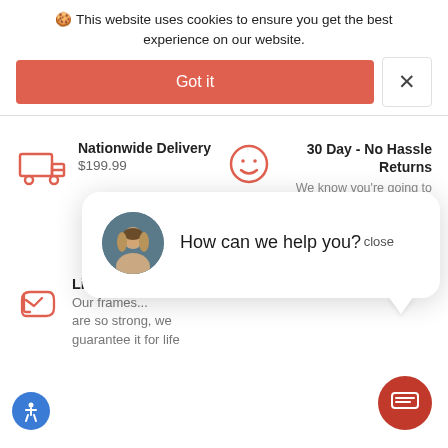🍪 This website uses cookies to ensure you get the best experience on our website.
Got it
×
Nationwide Delivery
$199.99
30 Day - No Hassle Returns
We know you're going to love it so much, we'll take it
close
How can we help you?
Lifetime
Our frames... are so strong, we guarantee it for life